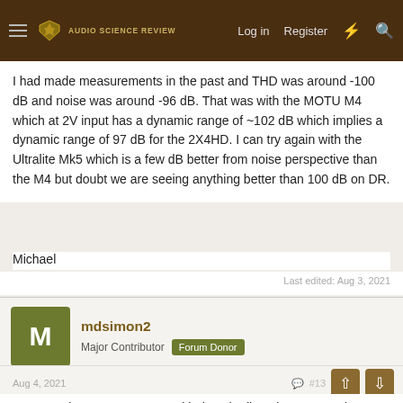Audio Science Review — Log in  Register
I had made measurements in the past and THD was around -100 dB and noise was around -96 dB. That was with the MOTU M4 which at 2V input has a dynamic range of ~102 dB which implies a dynamic range of 97 dB for the 2X4HD. I can try again with the Ultralite Mk5 which is a few dB better from noise perspective than the M4 but doubt we are seeing anything better than 100 dB on DR.
Michael
Last edited: Aug 3, 2021
mdsimon2
Major Contributor  Forum Donor
Aug 4, 2021  #13
Here are the measurements with the Ultralite Mk5. USB and TOSLINK inputs resulted in the same performance. The Ultralite Mk5 has two kinds of analog inputs, line in and microphone. The